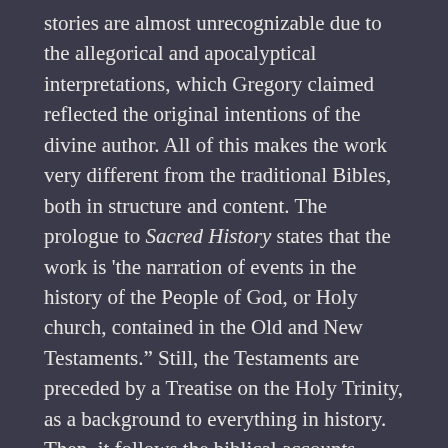stories are almost unrecognizable due to the allegorical and apocalyptical interpretations, which Gregory claimed reflected the original intentions of the divine author. All of this makes the work very different from the traditional Bibles, both in structure and content. The prologue to Sacred History states that the work is 'the narration of events in the history of the People of God, or Holy church, contained in the Old and New Testaments.' Still, the Testaments are preceded by a Treatise on the Holy Trinity, as a background to everything in history. Then, it follows the biblical accounts according to Palmarian chronology.
The 'History of the Popes,' or formally, Historical Review of all the Popes who have shepherded [the] Holy Church founded by Our Lord Jesus Christ was